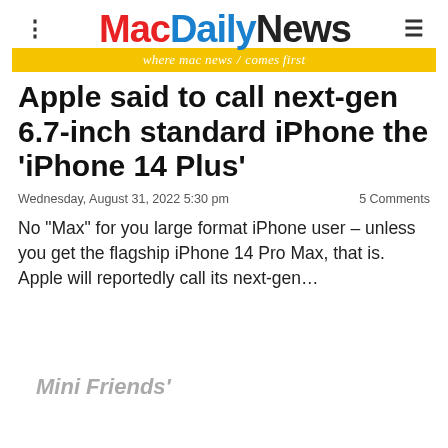MacDailyNews — where mac news / comes first
Apple said to call next-gen 6.7-inch standard iPhone the 'iPhone 14 Plus'
Wednesday, August 31, 2022 5:30 pm — 5 Comments
No “Max” for you large format iPhone user – unless you get the flagship iPhone 14 Pro Max, that is. Apple will reportedly call its next-gen…
Privacy & Cookies: This site uses cookies. By continuing to use this website, you agree to their use. To find out more, including how to control cookies, see here: Cookie Policy
Mini Friends'